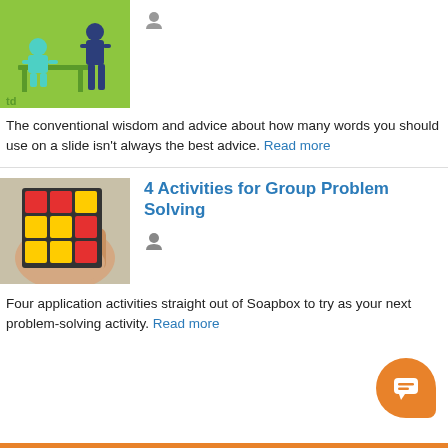[Figure (illustration): Illustration of people at a desk on green background with 'td' text]
The conventional wisdom and advice about how many words you should use on a slide isn't always the best advice. Read more
[Figure (photo): Photo of a hand holding a Rubik's cube]
4 Activities for Group Problem Solving
Four application activities straight out of Soapbox to try as your next problem-solving activity. Read more